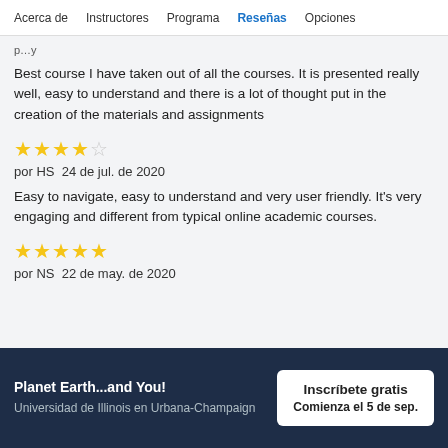Acerca de   Instructores   Programa   Reseñas   Opciones
Best course I have taken out of all the courses. It is presented really well, easy to understand and there is a lot of thought put in the creation of the materials and assignments
★★★★☆
por HS  24 de jul. de 2020
Easy to navigate, easy to understand and very user friendly. It's very engaging and different from typical online academic courses.
★★★★★
por NS  22 de may. de 2020
Planet Earth...and You!
Universidad de Illinois en Urbana-Champaign
Inscríbete gratis
Comienza el 5 de sep.